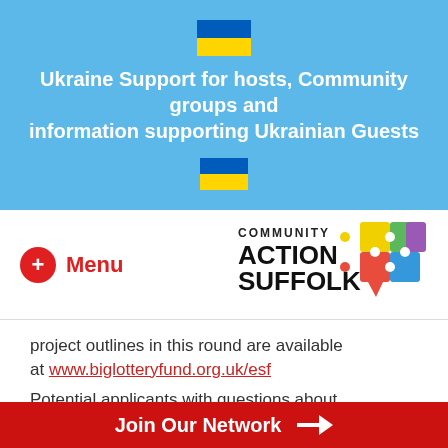[Figure (illustration): Ukraine flag (blue over yellow rectangle) displayed twice in a light blue banner]
Ukraine Support for hosts, Community groups and information supporting Ukrainian Guests
[Figure (logo): Menu button with red circle plus sign and red Menu text on left; Community Action Suffolk puzzle-piece logo on right]
project outlines in this round are available at www.biglotteryfund.org.uk/esf
Potential applicants with questions about
Join Our Network →